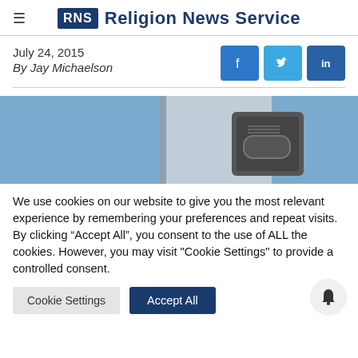RNS Religion News Service
July 24, 2015
By Jay Michaelson
[Figure (photo): Close-up photo of a doorbell or intercom device mounted on a blue wall]
We use cookies on our website to give you the most relevant experience by remembering your preferences and repeat visits. By clicking “Accept All”, you consent to the use of ALL the cookies. However, you may visit "Cookie Settings" to provide a controlled consent.